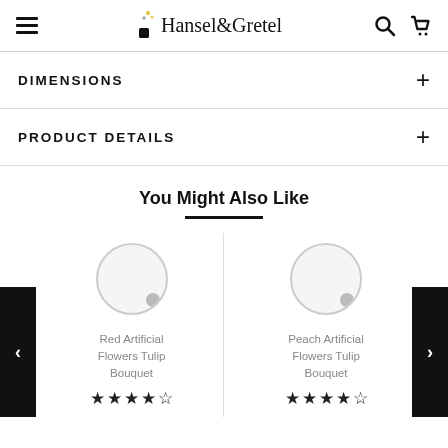Hansel & Gretel — site navigation header with hamburger menu, logo, search and cart icons
DIMENSIONS
PRODUCT DETAILS
You Might Also Like
[Figure (photo): Product card: Red Artificial Flowers Tulip Bouquet with circular loading placeholder and star rating]
[Figure (photo): Product card: Peach Artificial Flowers Tulip Bouquet with circular loading placeholder and star rating]